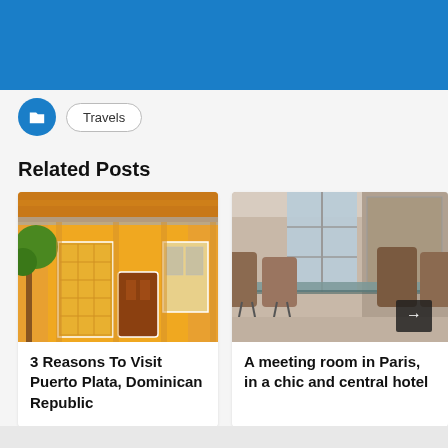[Figure (other): Blue header banner at top of page]
Travels
Related Posts
[Figure (photo): Yellow colonial building with decorative facade and green tree in Puerto Plata, Dominican Republic]
3 Reasons To Visit Puerto Plata, Dominican Republic
[Figure (photo): Modern hotel meeting room in Paris with glass table, brown leather chairs, and large windows]
A meeting room in Paris, in a chic and central hotel